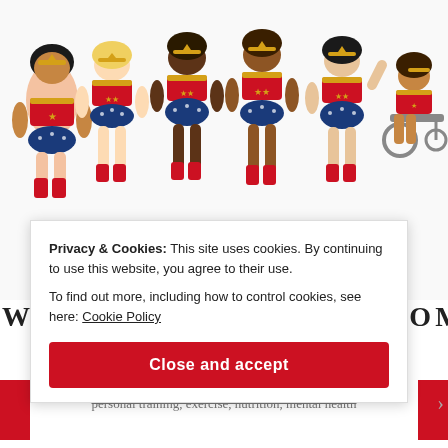[Figure (illustration): Illustration of diverse Wonder Women characters in various body types, skin tones, and abilities, all wearing the classic Wonder Woman costume with red/gold top, blue star-spangled shorts/skirt, and red boots. A small Wonder Woman logo appears below one figure.]
WE ARE ALL WONDERWOMEN!
Be the best version of you
personal training, exercise, nutrition, mental health
Privacy & Cookies: This site uses cookies. By continuing to use this website, you agree to their use.
To find out more, including how to control cookies, see here: Cookie Policy
Close and accept